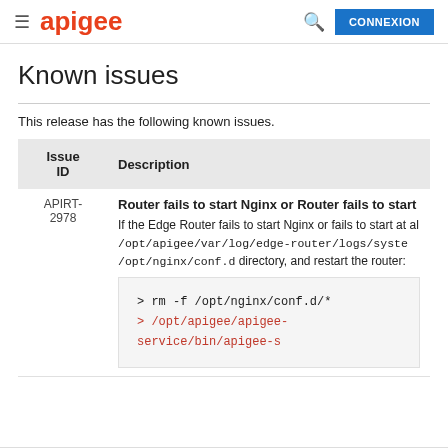≡ apigee  🔍  CONNEXION
Known issues
This release has the following known issues.
| Issue ID | Description |
| --- | --- |
| APIRT-2978 | Router fails to start Nginx or Router fails to start
If the Edge Router fails to start Nginx or fails to start at al /opt/apigee/var/log/edge-router/logs/syste /opt/nginx/conf.d directory, and restart the router:
> rm -f /opt/nginx/conf.d/*
> /opt/apigee/apigee-service/bin/apigee-s |